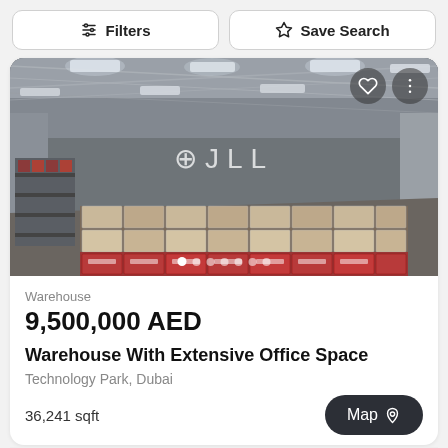Filters | Save Search
[Figure (photo): Interior of a large warehouse with high metal ceiling, fluorescent lighting, industrial storage racks stacked with goods and branded cardboard boxes. JLL logo/watermark visible in the center of the image.]
Warehouse
9,500,000 AED
Warehouse With Extensive Office Space
Technology Park, Dubai
36,241 sqft
Map
Listed 4 months